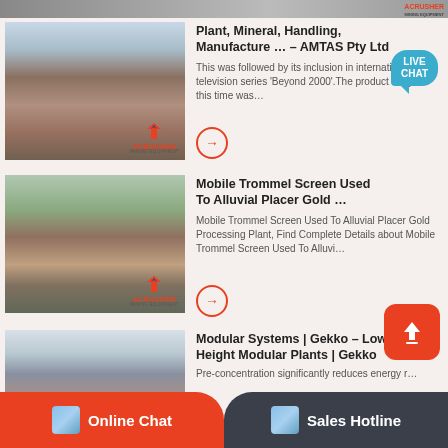[Figure (photo): Partial thumbnail of mining equipment at top of page]
[Figure (photo): Thumbnail of a mineral processing plant with conveyor belts and orange structure, ACRUSHER MINING EQUIPMENT logo]
Plant, Mineral, Handling, Manufacture … – AMTAS Pty Ltd
This was followed by its inclusion in international television series 'Beyond 2000'.The product range at this time was…
[Figure (photo): Thumbnail of mobile trommel screen mining equipment in mountainous area, ACRUSHER MINING EQUIPMENT logo]
Mobile Trommel Screen Used To Alluvial Placer Gold …
Mobile Trommel Screen Used To Alluvial Placer Gold Processing Plant, Find Complete Details about Mobile Trommel Screen Used To Alluvi…
[Figure (photo): Partial thumbnail of a building/plant structure at bottom of page]
Modular Systems | Gekko – Low Height Modular Plants | Gekko
Pre-concentration significantly reduces energy r…
Online Chat
Sales Hotline